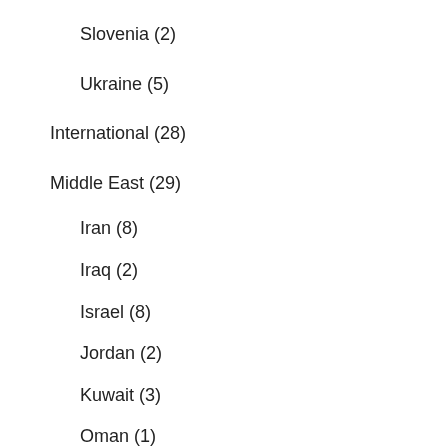Slovenia (2)
Ukraine (5)
International (28)
Middle East (29)
Iran (8)
Iraq (2)
Israel (8)
Jordan (2)
Kuwait (3)
Oman (1)
Palestine (2)
Saudi Arabia (3)